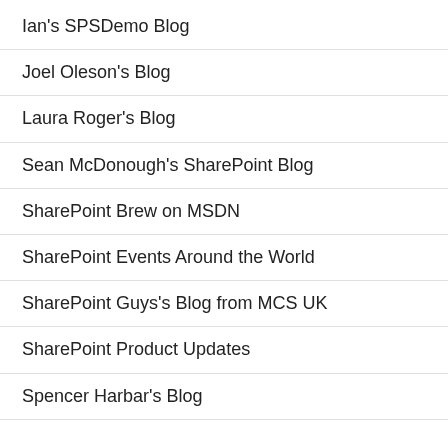Ian's SPSDemo Blog
Joel Oleson's Blog
Laura Roger's Blog
Sean McDonough's SharePoint Blog
SharePoint Brew on MSDN
SharePoint Events Around the World
SharePoint Guys's Blog from MCS UK
SharePoint Product Updates
Spencer Harbar's Blog